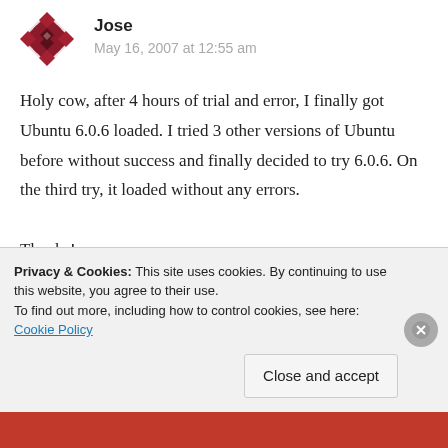[Figure (illustration): Geometric quilt-pattern avatar icon in dark red/maroon colors]
Jose
May 16, 2007 at 12:55 am
Holy cow, after 4 hours of trial and error, I finally got Ubuntu 6.0.6 loaded. I tried 3 other versions of Ubuntu before without success and finally decided to try 6.0.6. On the third try, it loaded without any errors.

Thanks!
Reply
Privacy & Cookies: This site uses cookies. By continuing to use this website, you agree to their use.
To find out more, including how to control cookies, see here: Cookie Policy
Close and accept